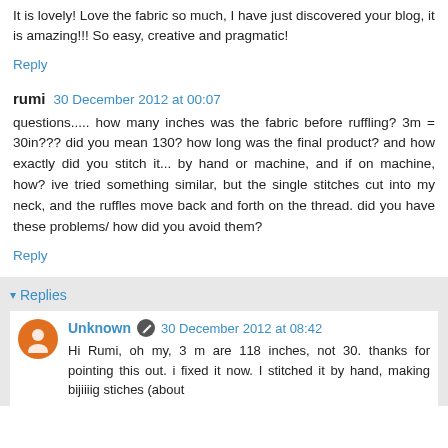It is lovely! Love the fabric so much, I have just discovered your blog, it is amazing!!! So easy, creative and pragmatic!
Reply
rumi  30 December 2012 at 00:07
questions..... how many inches was the fabric before ruffling? 3m = 30in??? did you mean 130? how long was the final product? and how exactly did you stitch it... by hand or machine, and if on machine, how? ive tried something similar, but the single stitches cut into my neck, and the ruffles move back and forth on the thread. did you have these problems/ how did you avoid them?
Reply
▾ Replies
Unknown  30 December 2012 at 08:42
Hi Rumi, oh my, 3 m are 118 inches, not 30. thanks for pointing this out. i fixed it now. I stitched it by hand, making bijiiiig stiches (about